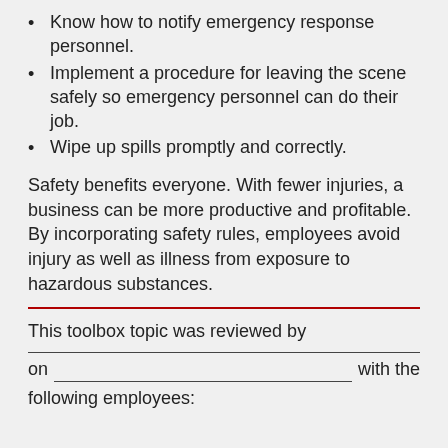Know how to notify emergency response personnel.
Implement a procedure for leaving the scene safely so emergency personnel can do their job.
Wipe up spills promptly and correctly.
Safety benefits everyone. With fewer injuries, a business can be more productive and profitable. By incorporating safety rules, employees avoid injury as well as illness from exposure to hazardous substances.
This toolbox topic was reviewed by
on _________________________ with the following employees: